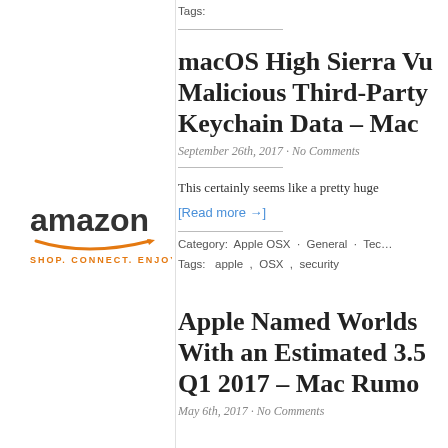Tags:
macOS High Sierra Vu... Malicious Third-Party... Keychain Data – Mac...
September 26th, 2017 · No Comments
This certainly seems like a pretty huge...
[Read more →]
Category: Apple OSX · General · Tech...
Tags: apple , OSX , security
[Figure (logo): Amazon logo with text SHOP. CONNECT. ENJOY.]
Apple Named Worlds... With an Estimated 3.5... Q1 2017 – Mac Rumo...
May 6th, 2017 · No Comments